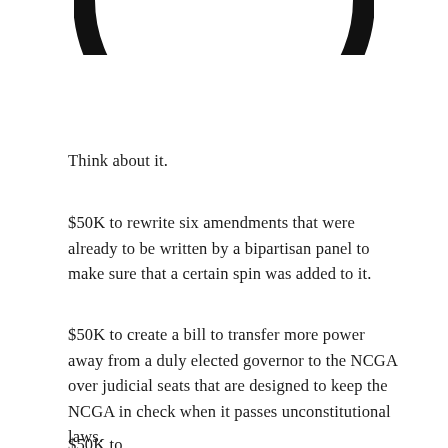[Figure (illustration): Partial bottom arc of a circular logo or emblem, showing the lower curved portion of a thick black ring/circle, cropped at the top of the page.]
Think about it.
$50K to rewrite six amendments that were already to be written by a bipartisan panel to make sure that a certain spin was added to it.
$50K to create a bill to transfer more power away from a duly elected governor to the NCGA over judicial seats that are designed to keep the NCGA in check when it passes unconstitutional laws.
$50K to...